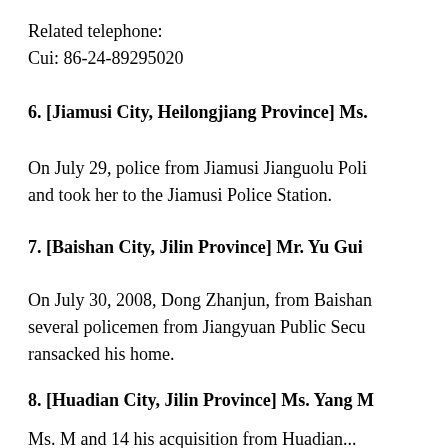Related telephone:
Cui: 86-24-89295020
6. [Jiamusi City, Heilongjiang Province] Ms.
On July 29, police from Jiamusi Jianguolu Poli and took her to the Jiamusi Police Station.
7. [Baishan City, Jilin Province] Mr. Yu Gui
On July 30, 2008, Dong Zhanjun, from Baishan several policemen from Jiangyuan Public Secu ransacked his home.
8. [Huadian City, Jilin Province] Ms. Yang M
Ms. M and 14 his acquisition from Huadian...